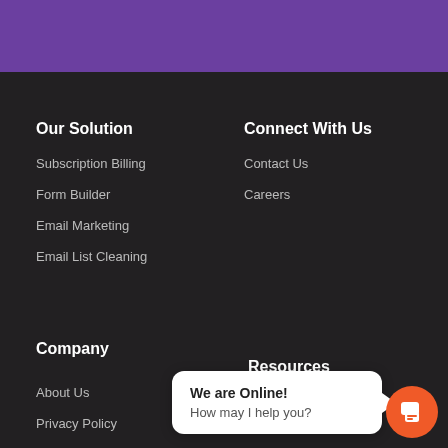[Figure (screenshot): Purple header bar at the top of the page]
Our Solution
Subscription Billing
Form Builder
Email Marketing
Email List Cleaning
Connect With Us
Contact Us
Careers
Company
About Us
Privacy Policy
Terms and Conditions
Resources
Blog Categories
[Figure (screenshot): Live chat widget showing 'We are Online! How may I help you?' with orange chat button]